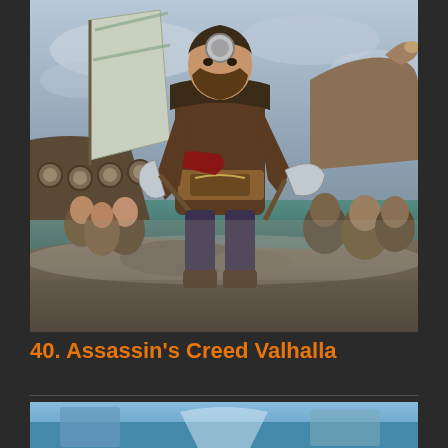[Figure (illustration): Promotional artwork for Assassin's Creed Valhalla showing a Viking warrior in the foreground holding two axes, wearing fur-trimmed leather armor with decorative belt. In the background are a Viking longship with shields along the side, a large sail, and several other Viking warriors. The scene has a dramatic, action-ready atmosphere.]
40. Assassin's Creed Valhalla
[Figure (illustration): Partial view of another game's artwork visible at the bottom of the page, showing a blue-tinted scene.]